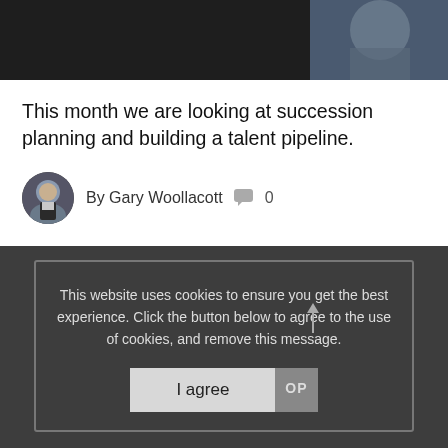[Figure (photo): Top banner image showing a person in a suit on dark background]
This month we are looking at succession planning and building a talent pipeline.
By Gary Woollacott  🗨 0
This website uses cookies to ensure you get the best experience. Click the button below to agree to the use of cookies, and remove this message.
I agree
SEP
19
40 years in 40 countries: Horton